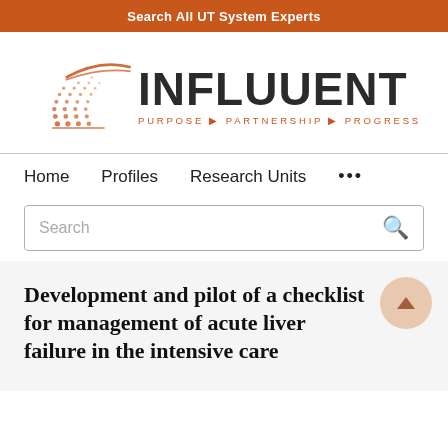Search All UT System Experts
[Figure (logo): Influuent logo with orange geometric triangle/wheat graphic and text INFLUUENT PURPOSE PARTNERSHIP PROGRESS]
Home  Profiles  Research Units  ...
Search
Development and pilot of a checklist for management of acute liver failure in the intensive care